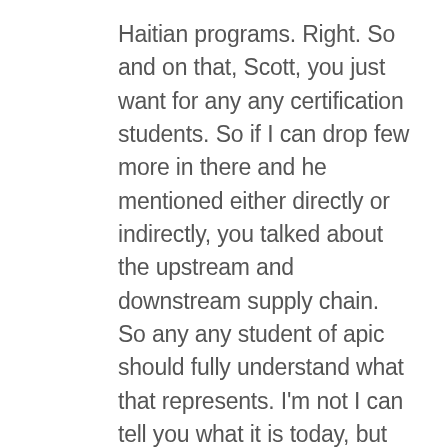Haitian programs. Right. So and on that, Scott, you just want for any any certification students. So if I can drop few more in there and he mentioned either directly or indirectly, you talked about the upstream and downstream supply chain. So any any student of apic should fully understand what that represents. I'm not I can tell you what it is today, but he did reference it. Strategic sourcing is another key concept that we talk about in the CSC S.P. modules, obviously be-I conflict minerals. You should understand what conflict minerals are. He didn't say this,